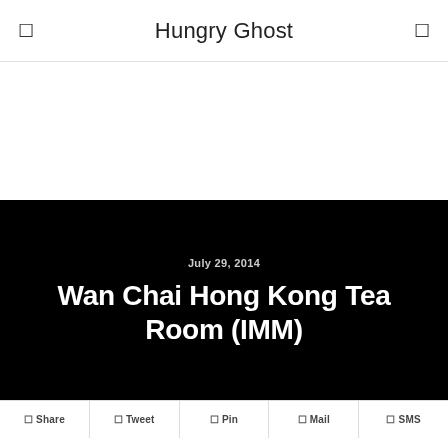Hungry Ghost
Wan Chai Hong Kong Tea Room (IMM)
July 29, 2014
Share  Tweet  Pin  Mail  SMS